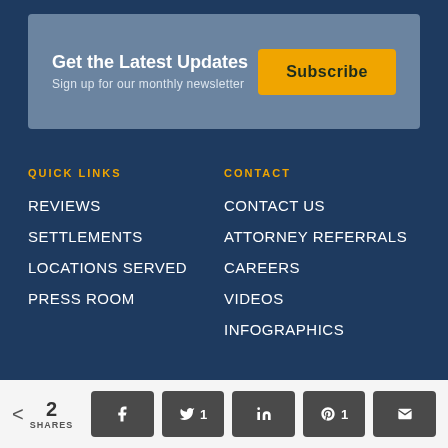[Figure (infographic): Newsletter signup banner with headline 'Get the Latest Updates', subtext 'Sign up for our monthly newsletter', and a yellow Subscribe button]
QUICK LINKS
REVIEWS
SETTLEMENTS
LOCATIONS SERVED
PRESS ROOM
CONTACT
CONTACT US
ATTORNEY REFERRALS
CAREERS
VIDEOS
INFOGRAPHICS
< 2 SHARES | Facebook | Twitter 1 | LinkedIn | Pinterest 1 | Email